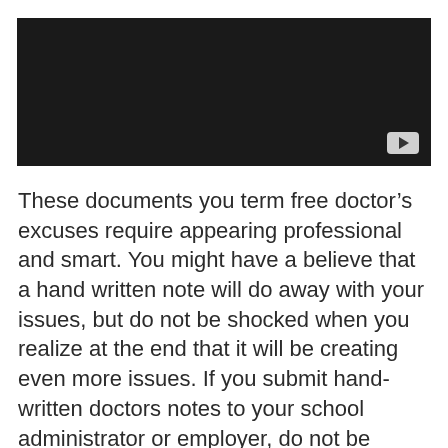[Figure (screenshot): Black video player thumbnail with a play button icon in the bottom-right corner]
These documents you term free doctor’s excuses require appearing professional and smart. You might have a believe that a hand written note will do away with your issues, but do not be shocked when you realize at the end that it will be creating even more issues. If you submit hand-written doctors notes to your school administrator or employer, do not be cheated that they cannot be able to see through the lines. Do not be surprised when a situation arises when you feel like appearing more foolish/ stupid that any aspect to them. When you go to the internet and come up with your personally, there are numerous websites that actually lack the watermark,